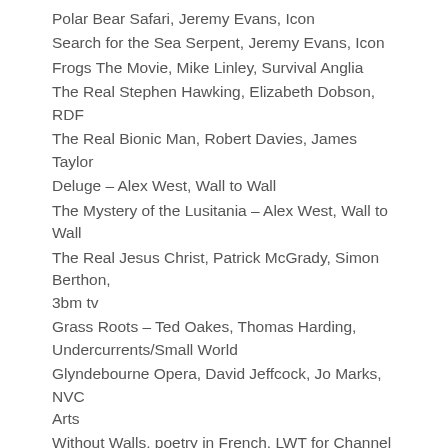Polar Bear Safari, Jeremy Evans, Icon
Search for the Sea Serpent, Jeremy Evans, Icon
Frogs The Movie, Mike Linley, Survival Anglia
The Real Stephen Hawking, Elizabeth Dobson, RDF
The Real Bionic Man, Robert Davies, James Taylor
Deluge – Alex West, Wall to Wall
The Mystery of the Lusitania – Alex West, Wall to Wall
The Real Jesus Christ, Patrick McGrady, Simon Berthon, 3bm tv
Grass Roots – Ted Oakes, Thomas Harding, Undercurrents/Small World
Glyndebourne Opera, David Jeffcock, Jo Marks, NVC Arts
Without Walls, poetry in French, LWT for Channel 4
Secrets of the Dead-2 documentary series – including – Oboe, David Barrie, David Robertson
Phoenicians, Claudia Milne 2020tv